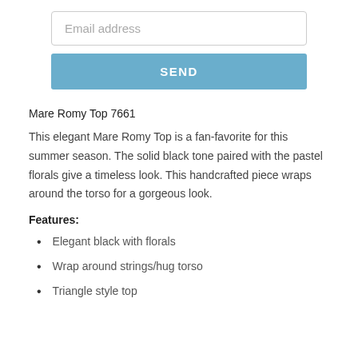Email address
SEND
Mare Romy Top 7661
This elegant Mare Romy Top is a fan-favorite for this summer season. The solid black tone paired with the pastel florals give a timeless look. This handcrafted piece wraps around the torso for a gorgeous look.
Features:
Elegant black with florals
Wrap around strings/hug torso
Triangle style top